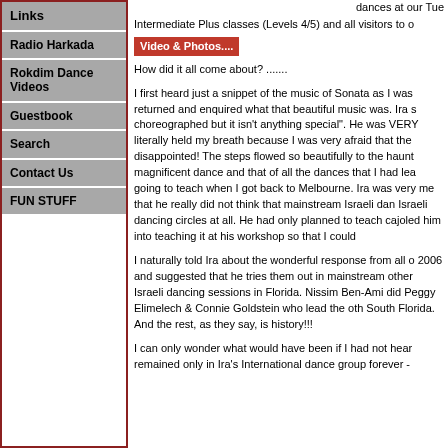Links
Radio Harkada
Rokdim Dance Videos
Guestbook
Search
Contact Us
FUN STUFF
dances at our Tue
Intermediate Plus classes (Levels 4/5) and all visitors to o
Video & Photos....
How did it all come about? .......
I first heard just a snippet of the music of Sonata as I was returned and enquired what that beautiful music was. Ira s choreographed but it isn't anything special". He was VERY literally held my breath because I was very afraid that the disappointed! The steps flowed so beautifully to the haunt magnificent dance and that of all the dances that I had lea going to teach when I got back to Melbourne. Ira was very me that he really did not think that mainstream Israeli dan Israeli dancing circles at all. He had only planned to teach cajoled him into teaching it at his workshop so that I could
I naturally told Ira about the wonderful response from all o 2006 and suggested that he tries them out in mainstream other Israeli dancing sessions in Florida. Nissim Ben-Ami did Peggy Elimelech & Connie Goldstein who lead the oth South Florida. And the rest, as they say, is history!!!
I can only wonder what would have been if I had not hear remained only in Ira's International dance group forever -